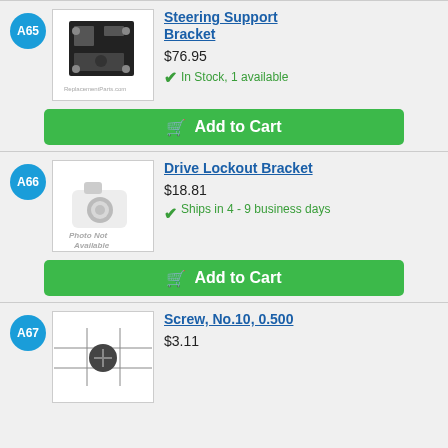[Figure (photo): Product image of Steering Support Bracket - black metal bracket part]
Steering Support Bracket
$76.95
In Stock, 1 available
Add to Cart
[Figure (photo): Photo Not Available placeholder image]
Drive Lockout Bracket
$18.81
Ships in 4 - 9 business days
Add to Cart
[Figure (photo): Product image of Screw No.10 0.500]
Screw, No.10, 0.500
$3.11